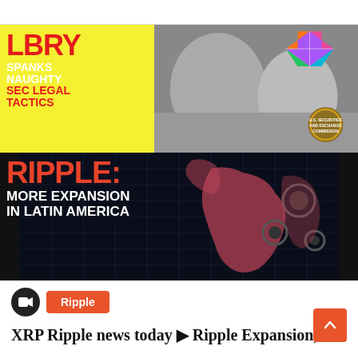[Figure (screenshot): Composite thumbnail image. Top half: left panel is yellow background with bold red text 'LBRY' and white/red text 'SPANKS NAUGHTY SEC LEGAL TACTICS'; right panel is grayscale photo of two people with a colorful diamond logo overlay and SEC seal badge. Bottom half: dark background with large red 'RIPPLE:' text and white text 'MORE EXPANSION IN LATIN AMERICA', with pink/rose world map gear graphic on the right.]
[Figure (logo): Video camera icon in dark circle, next to orange 'Ripple' category tag]
XRP Ripple news today ▶ Ripple Expansion,